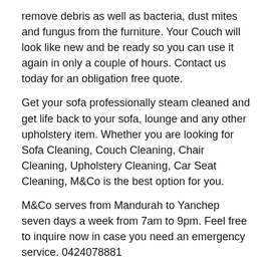remove debris as well as bacteria, dust mites and fungus from the furniture. Your Couch will look like new and be ready so you can use it again in only a couple of hours. Contact us today for an obligation free quote.
Get your sofa professionally steam cleaned and get life back to your sofa, lounge and any other upholstery item. Whether you are looking for Sofa Cleaning, Couch Cleaning, Chair Cleaning, Upholstery Cleaning, Car Seat Cleaning, M&Co is the best option for you.
M&Co serves from Mandurah to Yanchep seven days a week from 7am to 9pm. Feel free to inquire now in case you need an emergency service. 0424078881
Carpet deep steam cleaning
Mattress deep steam cleaning
Vehicle seat deep steam cleaning
Leather cleaning & protection